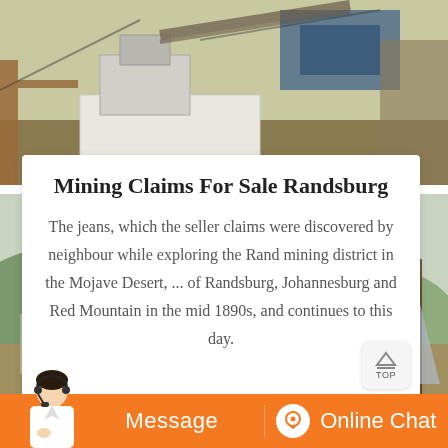[Figure (photo): Mining equipment / machinery photo at top of page — stone crusher or processing plant structure outdoors]
Mining Claims For Sale Randsburg
The jeans, which the seller claims were discovered by neighbour while exploring the Rand mining district in the Mojave Desert, ... of Randsburg, Johannesburg and Red Mountain in the mid 1890s, and continues to this day.
[Figure (photo): Mining equipment / industrial structure photo at bottom of page — tall rusty metal scaffolding with green hills in background]
[Figure (photo): Customer service representative (woman with headset) overlaid on orange chat bar at bottom]
Message
Online Chat